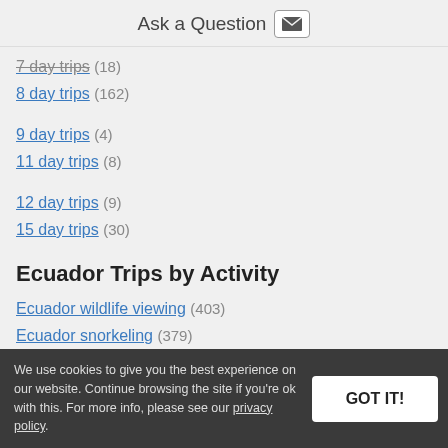Ask a Question
7 day trips (18)
8 day trips (162)
9 day trips (4)
11 day trips (8)
12 day trips (9)
15 day trips (30)
Ecuador Trips by Activity
Ecuador wildlife viewing (403)
Ecuador snorkeling (379)
We use cookies to give you the best experience on our website. Continue browsing the site if you're ok with this. For more info, please see our privacy policy.